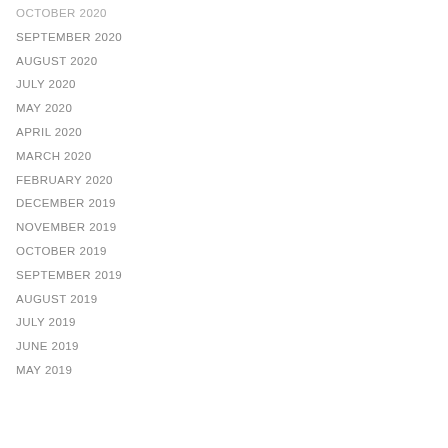OCTOBER 2020
SEPTEMBER 2020
AUGUST 2020
JULY 2020
MAY 2020
APRIL 2020
MARCH 2020
FEBRUARY 2020
DECEMBER 2019
NOVEMBER 2019
OCTOBER 2019
SEPTEMBER 2019
AUGUST 2019
JULY 2019
JUNE 2019
MAY 2019